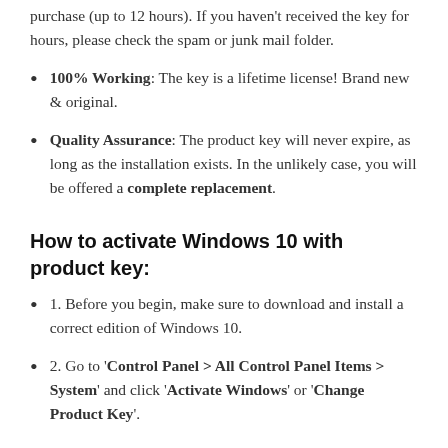purchase (up to 12 hours). If you haven't received the key for hours, please check the spam or junk mail folder.
100% Working: The key is a lifetime license! Brand new & original.
Quality Assurance: The product key will never expire, as long as the installation exists. In the unlikely case, you will be offered a complete replacement.
How to activate Windows 10 with product key:
1. Before you begin, make sure to download and install a correct edition of Windows 10.
2. Go to 'Control Panel > All Control Panel Items > System' and click 'Activate Windows' or 'Change Product Key'.